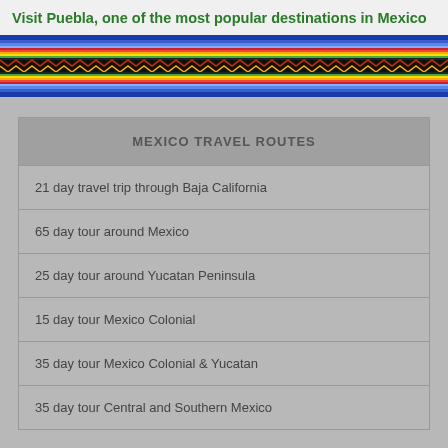Visit Puebla, one of the most popular destinations in Mexico
[Figure (illustration): Decorative Mexican serape/blanket stripe pattern with rainbow colors (blue, red, yellow, orange, green) and a central band of geometric zigzag black and white pattern]
MEXICO TRAVEL ROUTES
21 day travel trip through Baja California
65 day tour around Mexico
25 day tour around Yucatan Peninsula
15 day tour Mexico Colonial
35 day tour Mexico Colonial & Yucatan
35 day tour Central and Southern Mexico